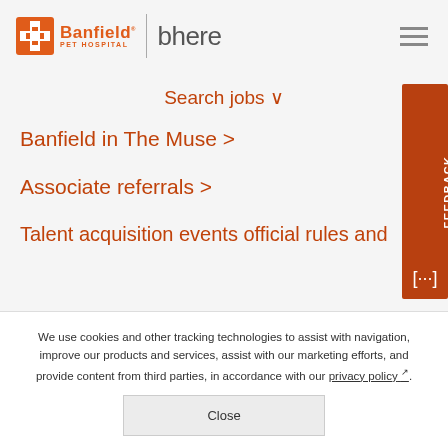[Figure (logo): Banfield Pet Hospital logo with orange cross icon and 'bhere' text, with hamburger menu icon on right]
Search jobs ˅
Banfield in The Muse >
Associate referrals >
Talent acquisition events official rules and
[Figure (other): Candidate FEEDBACK vertical tab in orange/brown on right side]
We use cookies and other tracking technologies to assist with navigation, improve our products and services, assist with our marketing efforts, and provide content from third parties, in accordance with our privacy policy.
Close